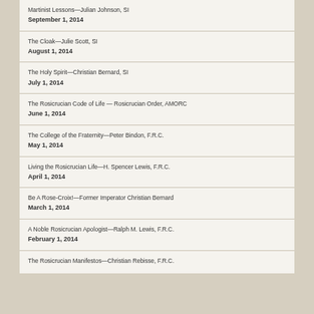Martinist Lessons—Julian Johnson, SI
September 1, 2014
The Cloak—Julie Scott, SI
August 1, 2014
The Holy Spirit—Christian Bernard, SI
July 1, 2014
The Rosicrucian Code of Life — Rosicrucian Order, AMORC
June 1, 2014
The College of the Fraternity—Peter Bindon, F.R.C.
May 1, 2014
Living the Rosicrucian Life—H. Spencer Lewis, F.R.C.
April 1, 2014
Be A Rose-Croix!—Former Imperator Christian Bernard
March 1, 2014
A Noble Rosicrucian Apologist—Ralph M. Lewis, F.R.C.
February 1, 2014
The Rosicrucian Manifestos—Christian Rebisse, F.R.C.